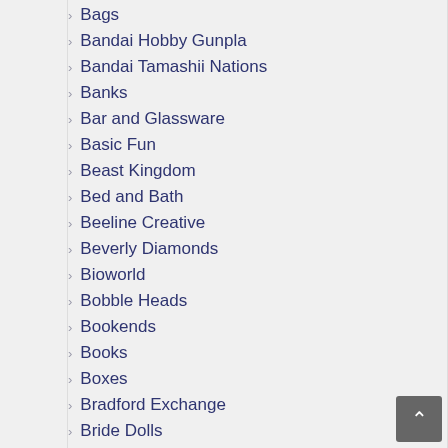Bags
Bandai Hobby Gunpla
Bandai Tamashii Nations
Banks
Bar and Glassware
Basic Fun
Beast Kingdom
Bed and Bath
Beeline Creative
Beverly Diamonds
Bioworld
Bobble Heads
Bookends
Books
Boxes
Bradford Exchange
Bride Dolls
Busts
Calendars
Candles and Candle Holders